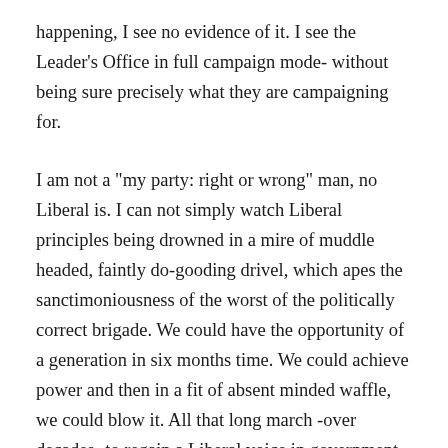happening, I see no evidence of it. I see the Leader's Office in full campaign mode- without being sure precisely what they are campaigning for.
I am not a "my party: right or wrong" man, no Liberal is. I can not simply watch Liberal principles being drowned in a mire of muddle headed, faintly do-gooding drivel, which apes the sanctimoniousness of the worst of the politically correct brigade. We could have the opportunity of a generation in six months time. We could achieve power and then in a fit of absent minded waffle, we could blow it. All that long march -over decades- to regain a Liberal voice in government, all the effort, all the hope; all of it could be wasted because at the last we chose to act, behave and - worst of all- even think like the other parties. Defeats, we have had plenty of them over the last 80 years, but to